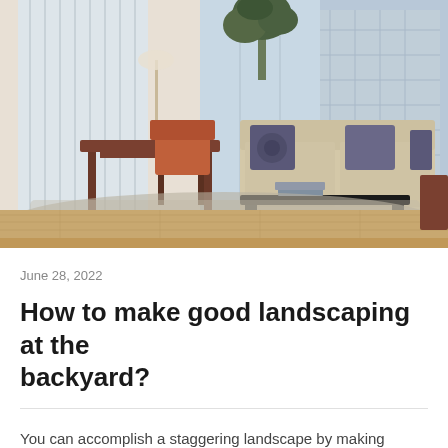[Figure (photo): Interior photo of a modern living room with a beige sofa with decorative pillows, a dark rectangular coffee table with books on top, a wooden dining table with an orange chair, large windows with vertical blinds, hardwood flooring, a large area rug, a tall indoor plant, and city buildings visible through the windows in the background.]
June 28, 2022
How to make good landscaping at the backyard?
You can accomplish a staggering landscape by making